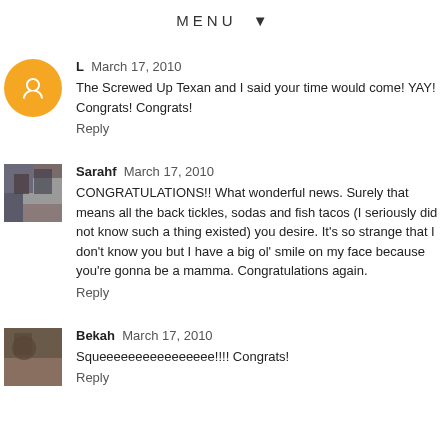MENU ▼
L  March 17, 2010
The Screwed Up Texan and I said your time would come! YAY! Congrats! Congrats!
Reply
Sarahf  March 17, 2010
CONGRATULATIONS!! What wonderful news. Surely that means all the back tickles, sodas and fish tacos (I seriously did not know such a thing existed) you desire. It's so strange that I don't know you but I have a big ol' smile on my face because you're gonna be a mamma. Congratulations again.
Reply
Bekah  March 17, 2010
Squeeeeeeeeeeeeeeee!!!! Congrats!
Reply